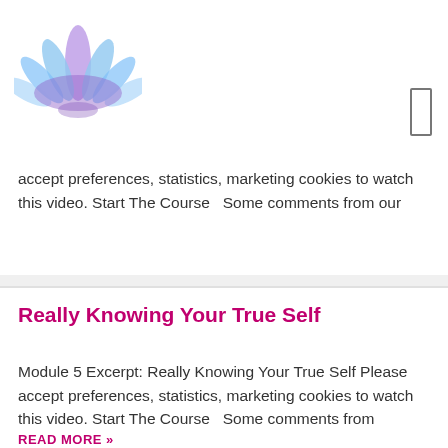[Figure (logo): Lotus flower logo in blue and purple tones]
accept preferences, statistics, marketing cookies to watch this video. Start The Course   Some comments from our
READ MORE »
June 6, 2022  •  No Comments
Really Knowing Your True Self
Module 5 Excerpt: Really Knowing Your True Self Please accept preferences, statistics, marketing cookies to watch this video. Start The Course   Some comments from
READ MORE »